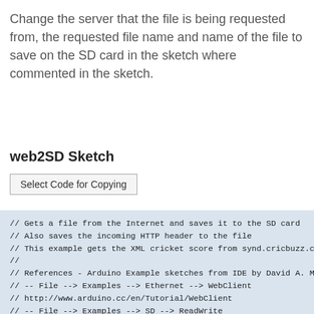Change the server that the file is being requested from, the requested file name and name of the file to save on the SD card in the sketch where commented in the sketch.
web2SD Sketch
Select Code for Copying
// Gets a file from the Internet and saves it to the SD card
// Also saves the incoming HTTP header to the file
// This example gets the XML cricket score from synd.cricbuzz.c
//
// References - Arduino Example sketches from IDE by David A. M
// -- File --> Examples --> Ethernet --> WebClient
// http://www.arduino.cc/en/Tutorial/WebClient
// -- File --> Examples --> SD --> ReadWrite
// http://www.arduino.cc/en/Tutorial/ReadWrite
//